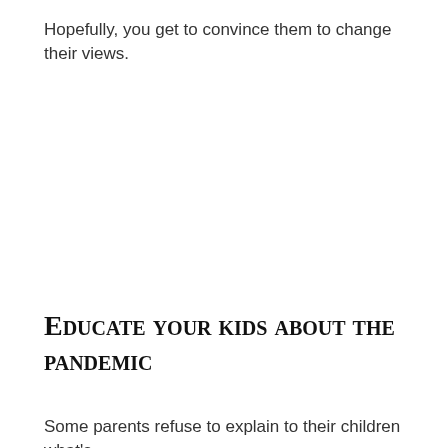Hopefully, you get to convince them to change their views.
Educate your kids about the pandemic
Some parents refuse to explain to their children what's